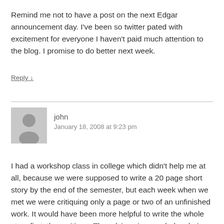Remind me not to have a post on the next Edgar announcement day. I've been so twitter pated with excitement for everyone I haven't paid much attention to the blog. I promise to do better next week.
Reply ↓
john
January 18, 2008 at 9:23 pm
I had a workshop class in college which didn't help me at all, because we were supposed to write a 20 page short story by the end of the semester, but each week when we met we were critiquing only a page or two of an unfinished work. It would have been more helpful to write the whole story first, then critique. The advice given ended up being useless because my story